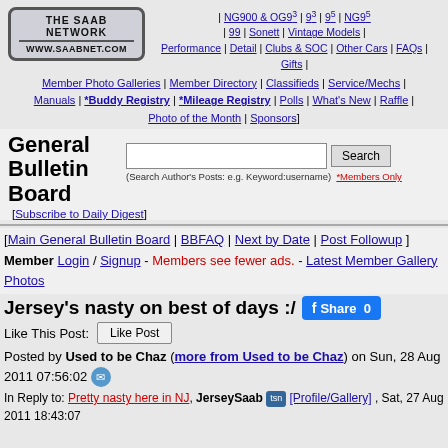[Figure (logo): The Saab Network logo with www.saabnet.com URL]
NG900 & OG9^3 | 9^3 | 9^5 | NG9^5 | 99 | Sonett | Vintage Models | Performance | Detail | Clubs & SOC | Other Cars | FAQs | Gifts
Member Photo Galleries | Member Directory | Classifieds | Service/Mechs | Manuals | *Buddy Registry | *Mileage Registry | Polls | What's New | Raffle | Photo of the Month | Sponsors
General Bulletin Board
[Subscribe to Daily Digest]
Search (Search Author's Posts: e.g. Keyword:username) *Members Only
[Main General Bulletin Board | BBFAQ | Next by Date | Post Followup ] Member Login / Signup - Members see fewer ads. - Latest Member Gallery Photos
Jersey's nasty on best of days :/
Like This Post: Like Post
Posted by Used to be Chaz (more from Used to be Chaz) on Sun, 28 Aug 2011 07:56:02
In Reply to: Pretty nasty here in NJ, JerseySaab [Profile/Gallery] , Sat, 27 Aug 2011 18:43:07